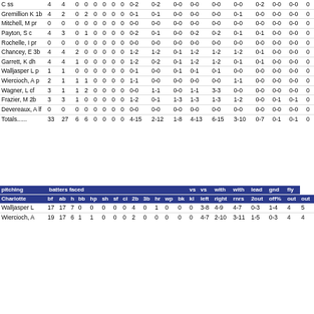| Player | bf | ab | h | bb | hp | sh | sf | ci | 2b | 3b | hr | wp | bk | kl | vs left | vs right | with rnrs | with 2out | lead off% | gnd out | fly out |
| --- | --- | --- | --- | --- | --- | --- | --- | --- | --- | --- | --- | --- | --- | --- | --- | --- | --- | --- | --- | --- | --- |
| C ss | 4 | 4 | 0 | 0 | 0 | 0 | 0 | 0 | 0-2 | 0-2 | 0-0 | 0-0 | 0-0 | 0-0 | 0-2 | 0-0 | 0-0 | 0-0 | 0 |
| Gremillion K 1b | 4 | 2 | 0 | 2 | 0 | 0 | 0 | 0 | 0-1 | 0-1 | 0-0 | 0-0 | 0-0 | 0-1 | 0-0 | 0-0 | 0-0 | 0 |
| Mitchell, M pr | 0 | 0 | 0 | 0 | 0 | 0 | 0 | 0 | 0-0 | 0-0 | 0-0 | 0-0 | 0-0 | 0-0 | 0-0 | 0-0 | 0-0 | 0 |
| Payton, S c | 4 | 3 | 0 | 1 | 0 | 0 | 0 | 0 | 0-2 | 0-1 | 0-0 | 0-2 | 0-2 | 0-1 | 0-1 | 0-0 | 0-0 | 0 |
| Rochelle, I pr | 0 | 0 | 0 | 0 | 0 | 0 | 0 | 0 | 0-0 | 0-0 | 0-0 | 0-0 | 0-0 | 0-0 | 0-0 | 0-0 | 0-0 | 0 |
| Chancey, E 3b | 4 | 4 | 2 | 0 | 0 | 0 | 0 | 0 | 1-2 | 1-2 | 0-1 | 1-2 | 1-2 | 1-2 | 0-1 | 0-0 | 0-0 | 0 |
| Garrett, K dh | 4 | 4 | 1 | 0 | 0 | 0 | 0 | 0 | 1-2 | 0-2 | 0-1 | 1-2 | 1-2 | 0-1 | 0-1 | 0-0 | 0-0 | 0 |
| Walljasper L p | 1 | 1 | 0 | 0 | 0 | 0 | 0 | 0 | 0-1 | 0-0 | 0-1 | 0-1 | 0-1 | 0-0 | 0-0 | 0-0 | 0-0 | 0 |
| Wiercioch, A p | 2 | 1 | 1 | 1 | 0 | 0 | 0 | 0 | 1-1 | 0-0 | 0-0 | 0-0 | 0-0 | 1-1 | 0-0 | 0-0 | 0-0 | 0 |
| Wagner, L cf | 3 | 1 | 1 | 2 | 0 | 0 | 0 | 0 | 0-0 | 1-1 | 0-0 | 1-1 | 3-3 | 0-0 | 0-0 | 0-0 | 0-0 | 0 |
| Frazier, M 2b | 3 | 3 | 1 | 0 | 0 | 0 | 0 | 0 | 1-2 | 0-1 | 1-3 | 1-3 | 1-3 | 1-2 | 0-0 | 0-1 | 0-1 | 0 |
| Devereaux, A lf | 0 | 0 | 0 | 0 | 0 | 0 | 0 | 0 | 0-0 | 0-0 | 0-0 | 0-0 | 0-0 | 0-0 | 0-0 | 0-0 | 0-0 | 0 |
| Totals...... | 33 | 27 | 6 | 6 | 0 | 0 | 0 | 0 | 4-15 | 2-12 | 1-8 | 4-13 | 6-15 | 3-10 | 0-7 | 0-1 | 0-1 | 0 |
| pitching Charlotte | bf | ab | h | bb | hp | sh | sf | ci | 2b | 3b | hr | wp | bk | kl | vs left | vs right | with rnrs | with 2out | lead off% | gnd out | fly out |
| --- | --- | --- | --- | --- | --- | --- | --- | --- | --- | --- | --- | --- | --- | --- | --- | --- | --- | --- | --- | --- | --- |
| Walljasper L | 17 | 17 | 7 | 0 | 0 | 0 | 0 | 0 | 4 | 0 | 1 | 0 | 0 | 0 | 3-8 | 4-9 | 4-7 | 0-3 | 1-4 | 4 | 5 |
| Wiercioch, A | 19 | 17 | 6 | 1 | 1 | 0 | 0 | 0 | 2 | 0 | 0 | 0 | 0 | 0 | 4-7 | 2-10 | 3-11 | 1-5 | 0-3 | 4 | 4 |